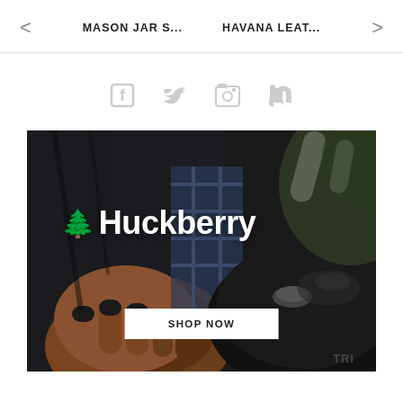MASON JAR S...   HAVANA LEAT...
[Figure (illustration): Social media icons: Facebook, Twitter, Instagram, RSS feed — displayed in light gray]
[Figure (photo): Huckberry advertisement showing a motorcyclist wearing leather gloves and jacket next to a motorcycle fuel tank with 'Triumph' branding. White Huckberry logo with tree icon overlaid. White 'SHOP NOW' button at bottom center.]